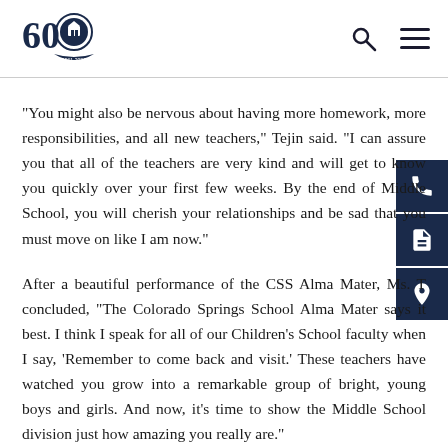60th Anniversary Logo, Search, Menu
"You might also be nervous about having more homework, more responsibilities, and all new teachers," Tejin said. "I can assure you that all of the teachers are very kind and will get to know you quickly over your first few weeks. By the end of Middle School, you will cherish your relationships and be sad that you must move on like I am now."
After a beautiful performance of the CSS Alma Mater, Ms. T concluded, "The Colorado Springs School Alma Mater says it best. I think I speak for all of our Children's School faculty when I say, 'Remember to come back and visit.' These teachers have watched you grow into a remarkable group of bright, young boys and girls. And now, it's time to show the Middle School division just how amazing you really are."